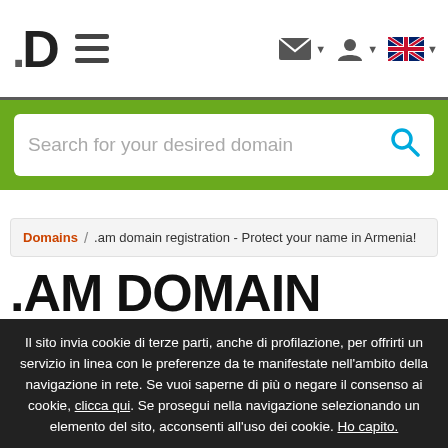[Figure (screenshot): Website header with logo (.D), hamburger menu, and icons for email, user account, and UK flag language selector]
[Figure (screenshot): Green search bar section with white search input field and placeholder text 'Search for your desired domain' and a cyan search icon]
Domains / .am domain registration - Protect your name in Armenia!
.AM DOMAIN REGISTRATION  ARMENIA
Il sito invia cookie di terze parti, anche di profilazione, per offrirti un servizio in linea con le preferenze da te manifestate nell'ambito della navigazione in rete. Se vuoi saperne di più o negare il consenso ai cookie, clicca qui. Se prosegui nella navigazione selezionando un elemento del sito, acconsenti all'uso dei cookie. Ho capito.